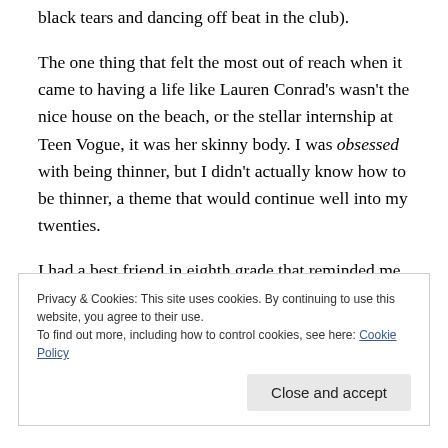black tears and dancing off beat in the club).
The one thing that felt the most out of reach when it came to having a life like Lauren Conrad's wasn't the nice house on the beach, or the stellar internship at Teen Vogue, it was her skinny body. I was obsessed with being thinner, but I didn't actually know how to be thinner, a theme that would continue well into my twenties.
I had a best friend in eighth grade that reminded me so much of Kristin Cavallari. She was mean,
Privacy & Cookies: This site uses cookies. By continuing to use this website, you agree to their use.
To find out more, including how to control cookies, see here: Cookie Policy
Close and accept
...